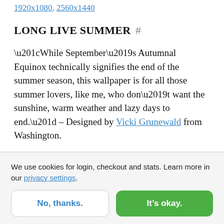1920x1080, 2560x1440
LONG LIVE SUMMER #
“While September’s Autumnal Equinox technically signifies the end of the summer season, this wallpaper is for all those summer lovers, like me, who don’t want the sunshine, warm weather and lazy days to end.” – Designed by Vicki Grunewald from Washington.
We use cookies for login, checkout and stats. Learn more in our privacy settings.
No, thanks.
It’s okay.